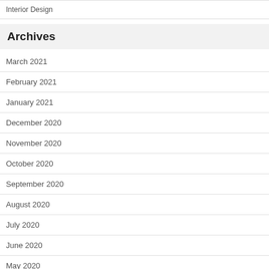Interior Design
Archives
March 2021
February 2021
January 2021
December 2020
November 2020
October 2020
September 2020
August 2020
July 2020
June 2020
May 2020